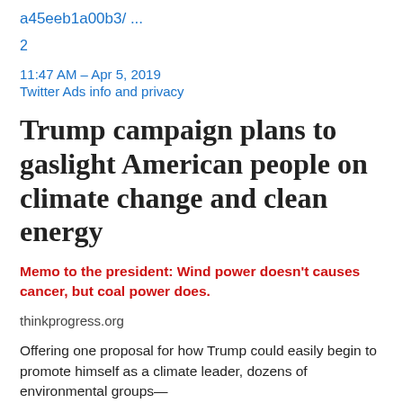a45eeb1a00b3/ ...
2
11:47 AM – Apr 5, 2019
Twitter Ads info and privacy
Trump campaign plans to gaslight American people on climate change and clean energy
Memo to the president: Wind power doesn't causes cancer, but coal power does.
thinkprogress.org
Offering one proposal for how Trump could easily begin to promote himself as a climate leader, dozens of environmental groups—